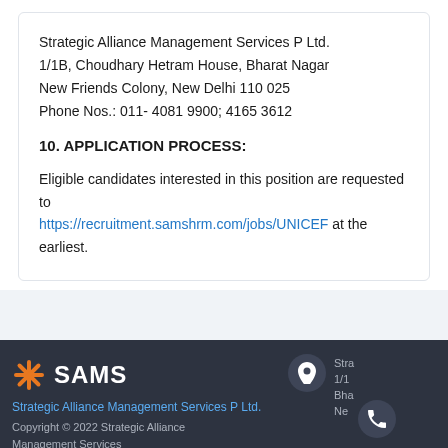Strategic Alliance Management Services P Ltd.
1/1B, Choudhary Hetram House, Bharat Nagar
New Friends Colony, New Delhi 110 025
Phone Nos.: 011- 4081 9900; 4165 3612
10. APPLICATION PROCESS:
Eligible candidates interested in this position are requested to https://recruitment.samshrm.com/jobs/UNICEF at the earliest.
SAMS — Strategic Alliance Management Services P Ltd. Copyright © 2022 Strategic Alliance Management Services Private Limited. All Rights Reserved.